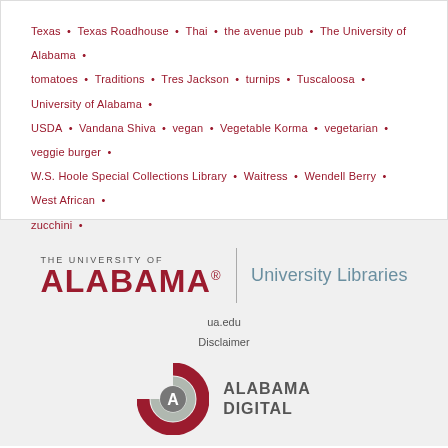Texas • Texas Roadhouse • Thai • the avenue pub • The University of Alabama • tomatoes • Traditions • Tres Jackson • turnips • Tuscaloosa • University of Alabama • USDA • Vandana Shiva • vegan • Vegetable Korma • vegetarian • veggie burger • W.S. Hoole Special Collections Library • Waitress • Wendell Berry • West African • zucchini •
[Figure (logo): The University of Alabama University Libraries logo with ua.edu and Disclaimer links below]
[Figure (logo): Alabama Digital logo - circular A mark in crimson and gray with ALABAMA DIGITAL text]